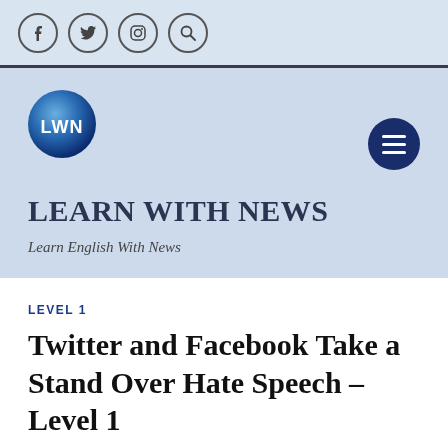f  ⓣ  📷  🔍
[Figure (logo): LWN circular logo with blue gradient background and white letters LWN]
LEARN WITH NEWS
Learn English With News
LEVEL 1
Twitter and Facebook Take a Stand Over Hate Speech – Level 1